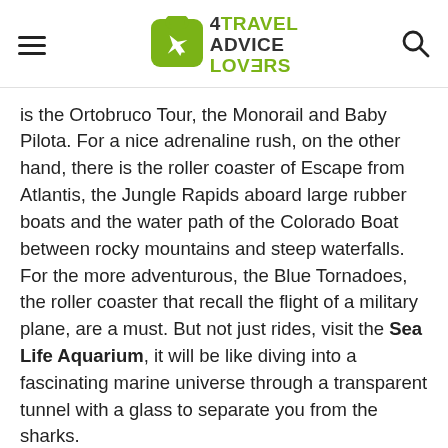4TRAVEL ADVICE LOVERS
is the Ortobruco Tour, the Monorail and Baby Pilota. For a nice adrenaline rush, on the other hand, there is the roller coaster of Escape from Atlantis, the Jungle Rapids aboard large rubber boats and the water path of the Colorado Boat between rocky mountains and steep waterfalls. For the more adventurous, the Blue Tornadoes, the roller coaster that recall the flight of a military plane, are a must. But not just rides, visit the Sea Life Aquarium, it will be like diving into a fascinating marine universe through a transparent tunnel with a glass to separate you from the sharks.
As this is the most visited amusement park in Italy, you will likely encounter long queues at the entrance, so don't forget to buy your skip the line ticket in advance.